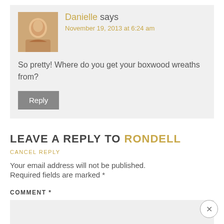Danielle says
November 19, 2013 at 6:24 am
So pretty! Where do you get your boxwood wreaths from?
Reply
LEAVE A REPLY TO RONDELL
CANCEL REPLY
Your email address will not be published.
Required fields are marked *
COMMENT *